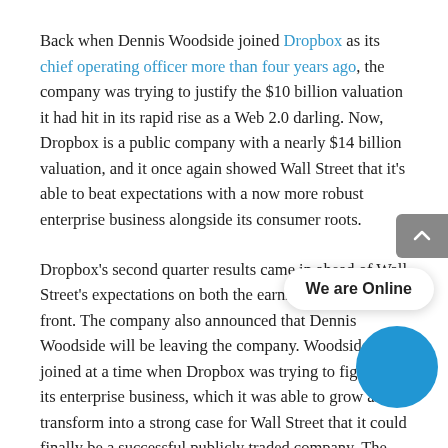Back when Dennis Woodside joined Dropbox as its chief operating officer more than four years ago, the company was trying to justify the $10 billion valuation it had hit in its rapid rise as a Web 2.0 darling. Now, Dropbox is a public company with a nearly $14 billion valuation, and it once again showed Wall Street that it's able to beat expectations with a now more robust enterprise business alongside its consumer roots.
Dropbox's second quarter results came in ahead of Wall Street's expectations on both the earnings and revenue front. The company also announced that Dennis Woodside will be leaving the company. Woodside joined at a time when Dropbox was trying to figure out its enterprise business, which it was able to grow and transform into a strong case for Wall Street that it could finally be a successful publicly traded company. The IPO was indeed successful, with the company's shares soaring more than 40 percent in